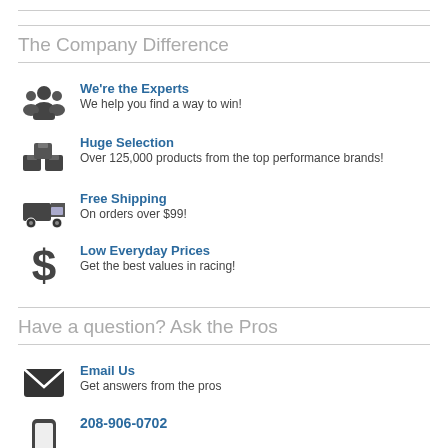The Company Difference
We're the Experts
We help you find a way to win!
Huge Selection
Over 125,000 products from the top performance brands!
Free Shipping
On orders over $99!
Low Everyday Prices
Get the best values in racing!
Have a question? Ask the Pros
Email Us
Get answers from the pros
208-906-0702